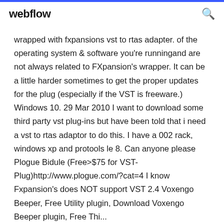webflow
wrapped with fxpansions vst to rtas adapter. of the operating system & software you're runningand are not always related to FXpansion's wrapper. It can be a little harder sometimes to get the proper updates for the plug (especially if the VST is freeware.) Windows 10. 29 Mar 2010 I want to download some third party vst plug-ins but have been told that i need a vst to rtas adaptor to do this. I have a 002 rack, windows xp and protools le 8. Can anyone please Plogue Bidule (Free>$75 for VST-Plug)http://www.plogue.com/?cat=4 I know Fxpansion's does NOT support VST 2.4 Voxengo Beeper, Free Utility plugin, Download Voxengo Beeper plugin, Free Thi...